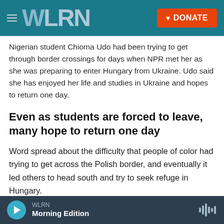WLRN — DONATE
Nigerian student Chioma Udo had been trying to get through border crossings for days when NPR met her as she was preparing to enter Hungary from Ukraine. Udo said she has enjoyed her life and studies in Ukraine and hopes to return one day.
Even as students are forced to leave, many hope to return one day
Word spread about the difficulty that people of color had trying to get across the Polish border, and eventually it led others to head south and try to seek refuge in Hungary.
Chioma Udo was attempting to leave Ukraine for a
WLRN — Morning Edition